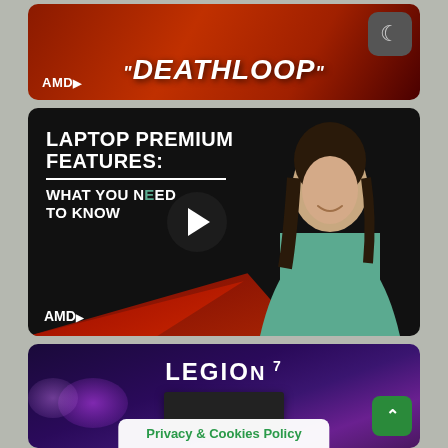[Figure (screenshot): AMD DEATHLOOP promotional banner with red background and game title text, dark mode toggle button in top right]
[Figure (screenshot): AMD laptop video thumbnail with text LAPTOP PREMIUM FEATURES: WHAT YOU NEED TO KNOW, play button, and woman in teal sweater on right side]
[Figure (screenshot): Lenovo Legion 7 laptop promotional banner with purple gradient background, Legion 7 logo and laptop image, Privacy and Cookies Policy banner at bottom, scroll-up button]